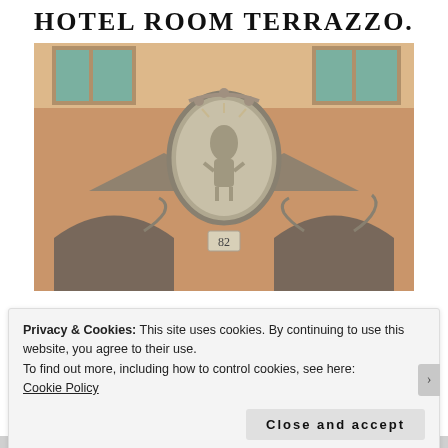HOTEL ROOM TERRAZZO.
[Figure (photo): Photograph of a classical European building facade with salmon/terracotta-colored stucco walls, arched doorways, and a central decorative oval medallion with a sculptural relief figure, with the number 82 below it.]
Privacy & Cookies: This site uses cookies. By continuing to use this website, you agree to their use.
To find out more, including how to control cookies, see here:
Cookie Policy
Close and accept